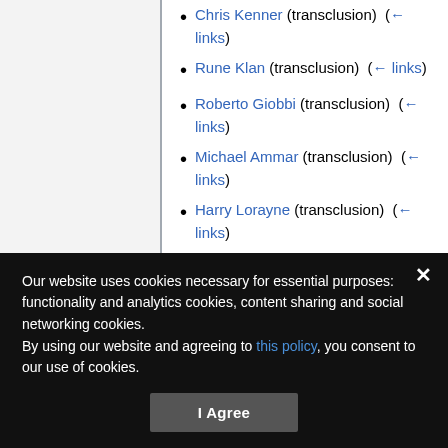Chris Kenner (transclusion) (← links)
Rune Klan (transclusion) (← links)
Roberto Giobbi (transclusion) (← links)
Michael Ammar (transclusion) (← links)
Harry Lorayne (transclusion) (← links)
Juliana Chen (transclusion) (← links)
Ken Klosterman (transclusion) (← links)
Our website uses cookies necessary for essential purposes: functionality and analytics cookies, content sharing and social networking cookies.
By using our website and agreeing to this policy, you consent to our use of cookies.